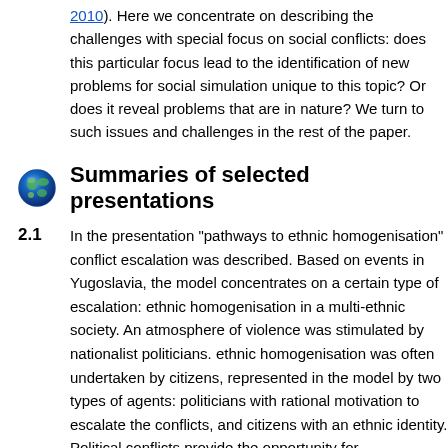2010). Here we concentrate on describing the challenges with special focus on social conflicts: does this particular focus lead to the identification of new problems for social simulation unique to this topic? Or does it reveal problems that are general in nature? We turn to such issues and challenges in the rest of the paper.
Summaries of selected presentations
2.1  In the presentation "pathways to ethnic homogenisation" conflict escalation was described. Based on events in Yugoslavia, the model concentrates on a certain type of escalation: ethnic homogenisation in a multi-ethnic society. An atmosphere of violence was stimulated by nationalist politicians. ethnic homogenisation was often undertaken by citizens, represented in the model by two types of agents: politicians with rational motivation to escalate the conflicts, and citizens with an ethnic identity. Political conflicts provide the opportunity for homogenisation. Mobilising ethnic identities provide t